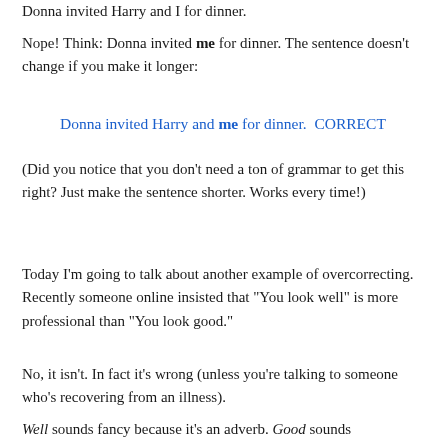Donna invited Harry and I for dinner.
Nope! Think: Donna invited me for dinner. The sentence doesn’t change if you make it longer:
Donna invited Harry and me for dinner.  CORRECT
(Did you notice that you don’t need a ton of grammar to get this right? Just make the sentence shorter. Works every time!)
Today I’m going to talk about another example of overcorrecting. Recently someone online insisted that “You look well” is more professional than “You look good.”
No, it isn’t. In fact it’s wrong (unless you’re talking to someone who’s recovering from an illness).
Well sounds fancy because it’s an adverb. Good sounds